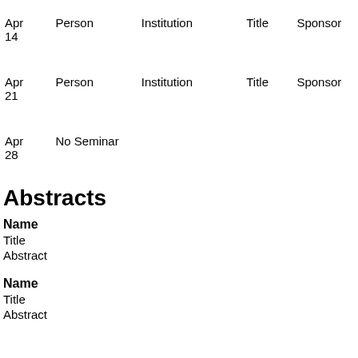| Date | Person | Institution | Title | Sponsor |
| --- | --- | --- | --- | --- |
| Apr 14 | Person | Institution | Title | Sponsor |
| Apr 21 | Person | Institution | Title | Sponsor |
| Apr 28 | No Seminar |  |  |  |
Abstracts
Name
Title
Abstract
Name
Title
Abstract